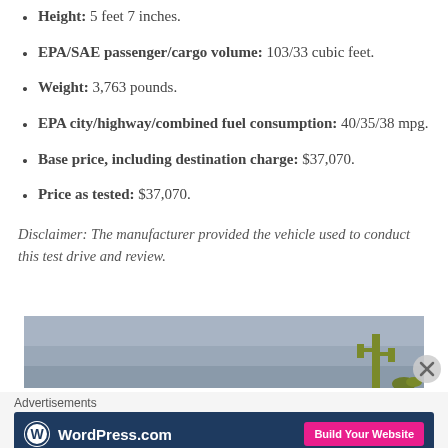Height: 5 feet 7 inches.
EPA/SAE passenger/cargo volume: 103/33 cubic feet.
Weight: 3,763 pounds.
EPA city/highway/combined fuel consumption: 40/35/38 mpg.
Base price, including destination charge: $37,070.
Price as tested: $37,070.
Disclaimer: The manufacturer provided the vehicle used to conduct this test drive and review.
[Figure (photo): Photo of desert landscape with saguaro cactus against grey sky]
Advertisements
[Figure (logo): WordPress.com advertisement banner with Build Your Website button]